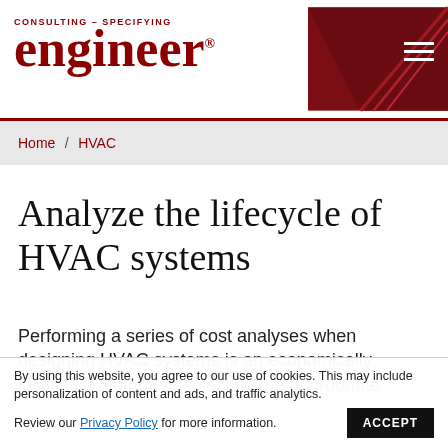CONSULTING – SPECIFYING engineer®
Home / HVAC
Analyze the lifecycle of HVAC systems
Performing a series of cost analyses when designing HVAC systems is an economically justifiable method to selecting the appropriate design solution
By using this website, you agree to our use of cookies. This may include personalization of content and ads, and traffic analytics. Review our Privacy Policy for more information. ACCEPT